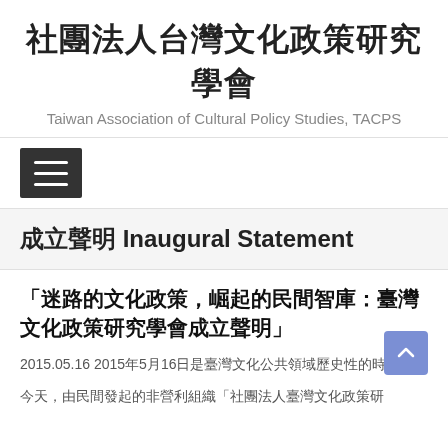社團法人台灣文化政策研究學會
Taiwan Association of Cultural Policy Studies, TACPS
[Figure (other): Hamburger menu icon button, dark background with three white horizontal lines]
成立聲明 Inaugural Statement
「迷路的文化政策，崛起的民間智庫：臺灣文化政策研究學會成立聲明」
2015.05.16 2015年5月16日是臺灣文化公共領域歷史性的時刻。
今天，由民間發起的非營利組織「社團法人臺灣文化政策研